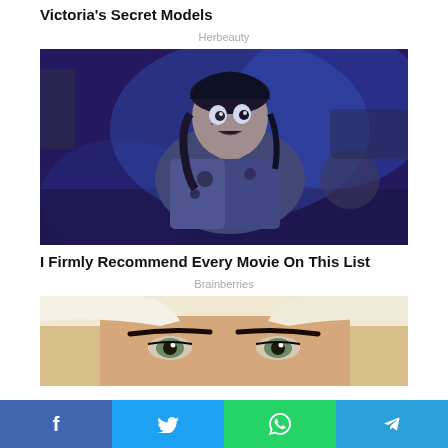Victoria's Secret Models
Herbeauty
[Figure (photo): Horror movie still: a woman with a frightened expression, covered in dark spots/blood, blue-tinted dramatic lighting]
I Firmly Recommend Every Movie On This List
Brainberries
[Figure (photo): Close-up of a woman's face with striking eyes and strong eyebrows, light-colored head covering]
Facebook Twitter WhatsApp Telegram share buttons